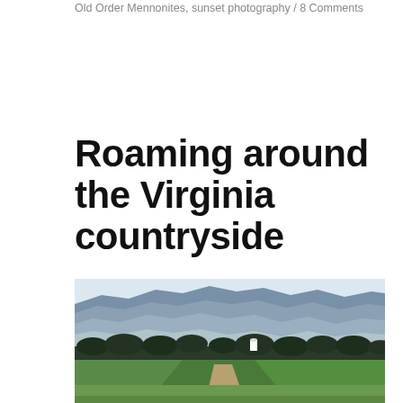Old Order Mennonites, sunset photography / 8 Comments
Roaming around the Virginia countryside
[Figure (photo): Landscape photo of Virginia countryside showing green farmland with a dirt path in the foreground, a line of dark trees in the middle ground, buildings visible in the distance, and layered blue mountain ridges under a hazy sky in the background.]